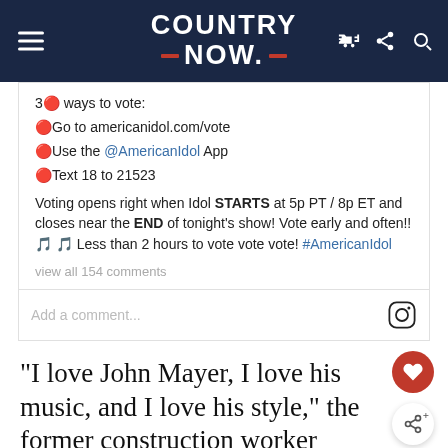COUNTRY NOW
3🔴 ways to vote:
🔴Go to americanidol.com/vote
🔴Use the @AmericanIdol App
🔴Text 18 to 21523
Voting opens right when Idol STARTS at 5p PT / 8p ET and closes near the END of tonight's show! Vote early and often!! 🎵 🎵 Less than 2 hours to vote vote vote! #AmericanIdol
view all 154 comments
Add a comment...
“I love John Mayer, I love his music, and I love his style,” the former construction worker shared of Mayer. “I never heard the